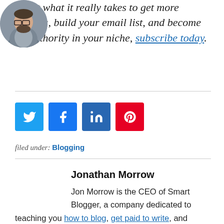about what it really takes to get more readers, build your email list, and become an authority in your niche, subscribe today.
[Figure (other): Social share buttons: Twitter (blue), Facebook (dark blue), LinkedIn (dark blue), Pinterest (red)]
filed under: Blogging
[Figure (photo): Circular portrait photo of Jonathan Morrow, a man with glasses and a beard wearing a grey jacket]
Jonathan Morrow
Jon Morrow is the CEO of Smart Blogger, a company dedicated to teaching you how to blog, get paid to write, and